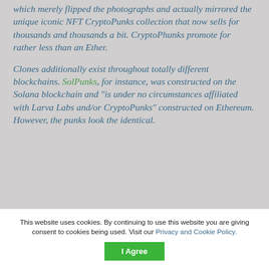which merely flipped the photographs and actually mirrored the unique iconic NFT CryptoPunks collection that now sells for thousands and thousands a bit. CryptoPhunks promote for rather less than an Ether.

Clones additionally exist throughout totally different blockchains. SolPunks, for instance, was constructed on the Solana blockchain and "is under no circumstances affiliated with Larva Labs and/or CryptoPunks" constructed on Ethereum. However, the punks look the identical.
This website uses cookies. By continuing to use this website you are giving consent to cookies being used. Visit our Privacy and Cookie Policy.